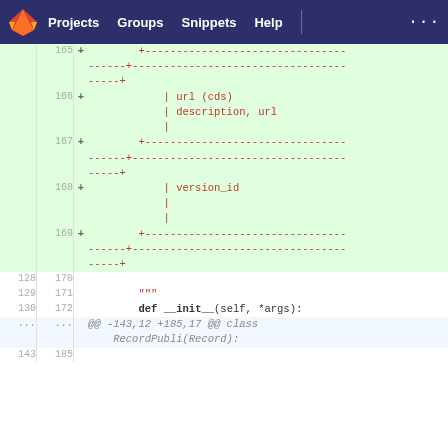GitLab navbar: Projects  Groups  Snippets  Help  ...
[Figure (screenshot): GitLab diff view showing added lines 165-169 with table separator ASCII art (dashes and pipes) in red, and normal lines 128-130 with def __init__(self, *args): and hunk header @@ -143,12 +185,17 @@ class RecordPubli(Record):]